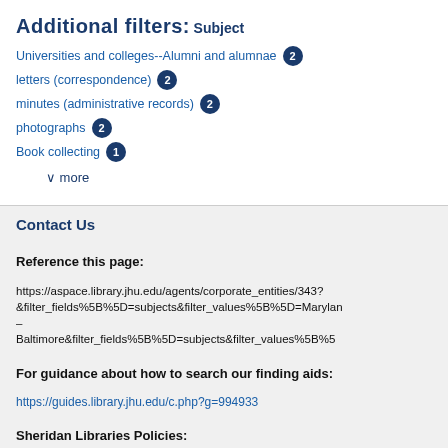Additional filters:
Subject
Universities and colleges--Alumni and alumnae 2
letters (correspondence) 2
minutes (administrative records) 2
photographs 2
Book collecting 1
∨ more
Contact Us
Reference this page:
https://aspace.library.jhu.edu/agents/corporate_entities/343?&filter_fields%5B%5D=subjects&filter_values%5B%5D=Marylan–Baltimore&filter_fields%5B%5D=subjects&filter_values%5B%5B%5
For guidance about how to search our finding aids:
https://guides.library.jhu.edu/c.php?g=994933
Sheridan Libraries Policies:
https://www.library.jhu.edu/policies/
Administrative Contact